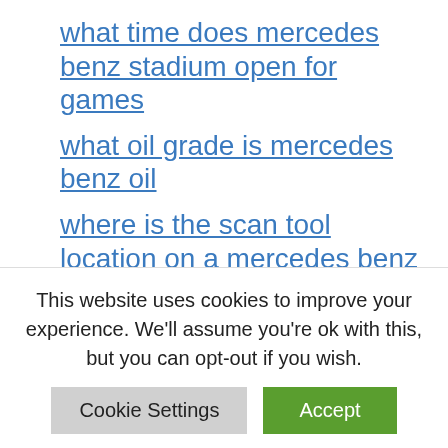what time does mercedes benz stadium open for games
what oil grade is mercedes benz oil
where is the scan tool location on a mercedes benz glk 350
what company owns mercedes-benz
how to repair windscreen washer bottle-mercedes benz c300
how to make a copy of a mercedes benz key
This website uses cookies to improve your experience. We'll assume you're ok with this, but you can opt-out if you wish.
Cookie Settings  Accept